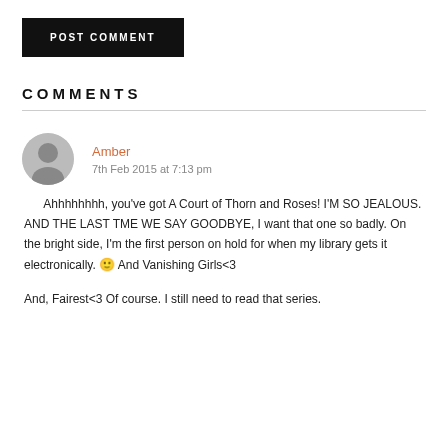POST COMMENT
COMMENTS
Amber
7th Feb 2015 at 7:13 pm
Ahhhhhhhh, you've got A Court of Thorn and Roses! I'M SO JEALOUS. AND THE LAST TME WE SAY GOODBYE, I want that one so badly. On the bright side, I'm the first person on hold for when my library gets it electronically. 🙂 And Vanishing Girls<3
And, Fairest<3 Of course. I still need to read that series.